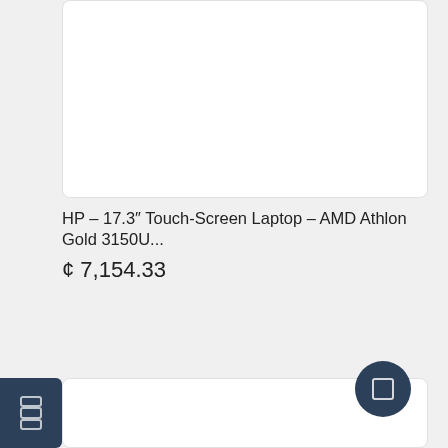[Figure (photo): Top portion of a product image card, partially visible (cut off at top of page)]
HP – 17.3" Touch-Screen Laptop – AMD Athlon Gold 3150U...
¢ 7,154.33
[Figure (screenshot): Second product card area with left sidebar navigation icons (three rectangle icons) in dark navy panel, and a circular floating action button with rectangle icon in bottom-right area]